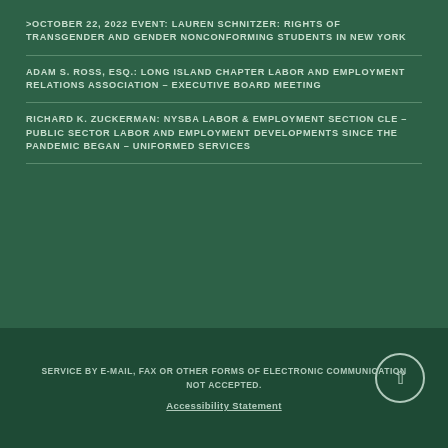>OCTOBER 22, 2022 EVENT: LAUREN SCHNITZER: RIGHTS OF TRANSGENDER AND GENDER NONCONFORMING STUDENTS IN NEW YORK
ADAM S. ROSS, ESQ.: LONG ISLAND CHAPTER LABOR AND EMPLOYMENT RELATIONS ASSOCIATION – EXECUTIVE BOARD MEETING
RICHARD K. ZUCKERMAN: NYSBA LABOR & EMPLOYMENT SECTION CLE – PUBLIC SECTOR LABOR AND EMPLOYMENT DEVELOPMENTS SINCE THE PANDEMIC BEGAN – UNIFORMED SERVICES
SERVICE BY E-MAIL, FAX OR OTHER FORMS OF ELECTRONIC COMMUNICATION NOT ACCEPTED.
Accessibility Statement